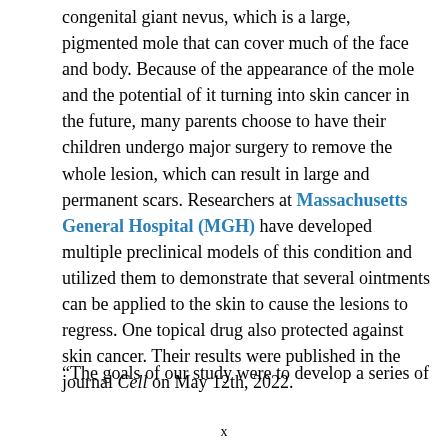congenital giant nevus, which is a large, pigmented mole that can cover much of the face and body. Because of the appearance of the mole and the potential of it turning into skin cancer in the future, many parents choose to have their children undergo major surgery to remove the whole lesion, which can result in large and permanent scars. Researchers at Massachusetts General Hospital (MGH) have developed multiple preclinical models of this condition and utilized them to demonstrate that several ointments can be applied to the skin to cause the lesions to regress. One topical drug also protected against skin cancer. Their results were published in the journal Cell on May 12th, 2022.
“The goals of our study were to develop a series of
x